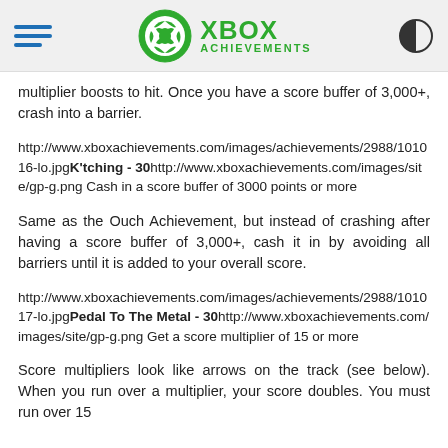XBOX ACHIEVEMENTS
multiplier boosts to hit. Once you have a score buffer of 3,000+, crash into a barrier.
http://www.xboxachievements.com/images/achievements/2988/101016-lo.jpgK'tching - 30http://www.xboxachievements.com/images/site/gp-g.png Cash in a score buffer of 3000 points or more
Same as the Ouch Achievement, but instead of crashing after having a score buffer of 3,000+, cash it in by avoiding all barriers until it is added to your overall score.
http://www.xboxachievements.com/images/achievements/2988/101017-lo.jpgPedal To The Metal - 30http://www.xboxachievements.com/images/site/gp-g.png Get a score multiplier of 15 or more
Score multipliers look like arrows on the track (see below). When you run over a multiplier, your score doubles. You must run over 15